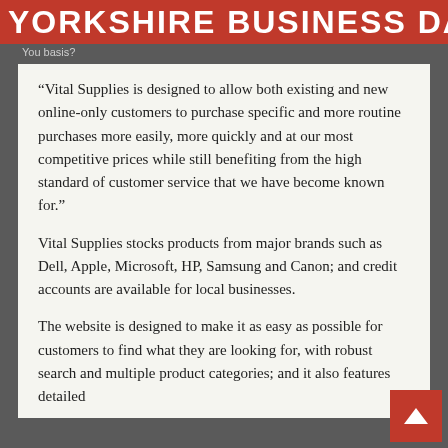YORKSHIRE BUSINESS DAILY
You basis?
“Vital Supplies is designed to allow both existing and new online-only customers to purchase specific and more routine purchases more easily, more quickly and at our most competitive prices while still benefiting from the high standard of customer service that we have become known for.”
Vital Supplies stocks products from major brands such as Dell, Apple, Microsoft, HP, Samsung and Canon; and credit accounts are available for local businesses.
The website is designed to make it as easy as possible for customers to find what they are looking for, with robust search and multiple product categories; and it also features detailed product information and further details on our...